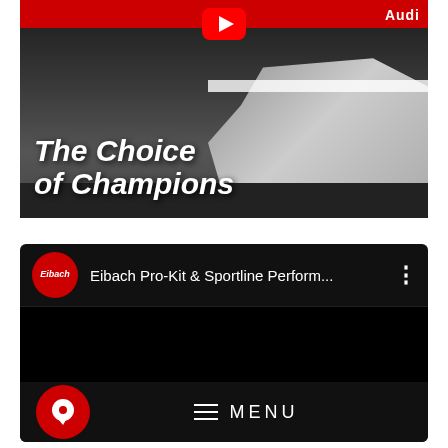[Figure (screenshot): YouTube video thumbnail with white italic bold text 'The Choice of Champions' overlaid on a racing car scene with red banner at top and YouTube play button. Audi branding visible on car.]
[Figure (screenshot): YouTube dark-themed video card showing Eibach channel icon (red circle with Eibach logo), video title 'Eibach Pro-Kit & Sportline Perform...' with three-dot menu, black video body area, and bottom bar with red chat bubble icon and hamburger MENU button.]